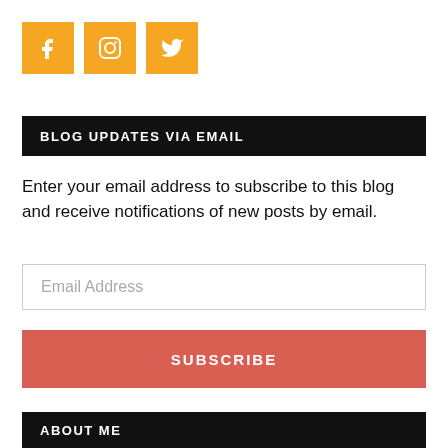[Figure (infographic): Three orange square social media icons: Facebook (f), Instagram (circle camera), Twitter (bird)]
BLOG UPDATES VIA EMAIL
Enter your email address to subscribe to this blog and receive notifications of new posts by email.
Email Address
SUBSCRIBE
ABOUT ME